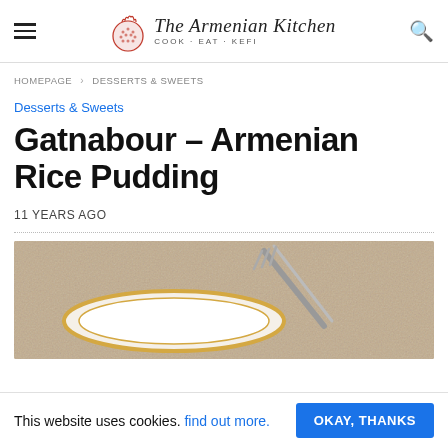The Armenian Kitchen — COOK · EAT · KEFI
HOMEPAGE › DESSERTS & SWEETS
Desserts & Sweets
Gatnabour – Armenian Rice Pudding
11 YEARS AGO
[Figure (photo): Close-up photo of a plate with a fork, on a granite countertop — likely showing Armenian rice pudding (Gatnabour) on a decorative plate with gold rim]
This website uses cookies. find out more. OKAY, THANKS